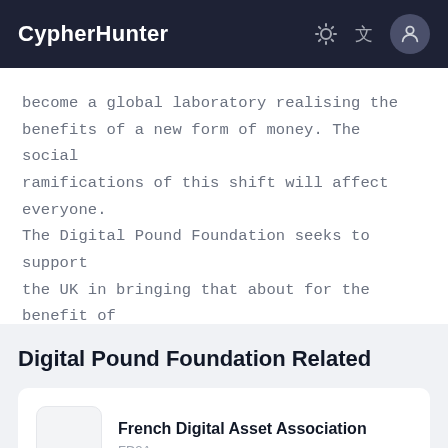CypherHunter
become a global laboratory realising the benefits of a new form of money. The social ramifications of this shift will affect everyone. The Digital Pound Foundation seeks to support the UK in bringing that about for the benefit of all".
Digital Pound Foundation Related
French Digital Asset Association
FD2A.